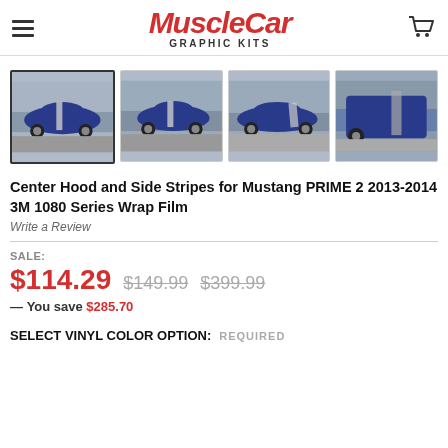MuscleCar GRAPHIC KITS
[Figure (photo): Four product thumbnail photos of a blue Ford Mustang with silver center hood and side stripes. First image selected/highlighted.]
Center Hood and Side Stripes for Mustang PRIME 2 2013-2014 3M 1080 Series Wrap Film
Write a Review
SALE: $114.29  $149.99  $399.99
— You save $285.70
SELECT VINYL COLOR OPTION: REQUIRED